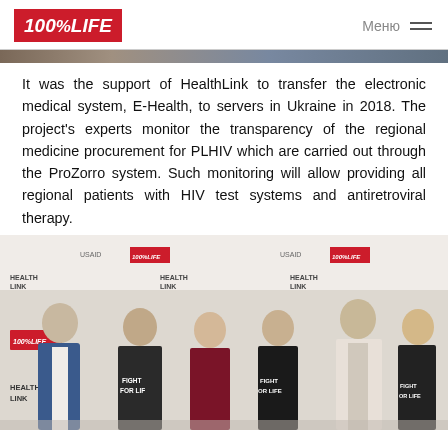100%LIFE | Меню
It was the support of HealthLink to transfer the electronic medical system, E-Health, to servers in Ukraine in 2018. The project's experts monitor the transparency of the regional medicine procurement for PLHIV which are carried out through the ProZorro system. Such monitoring will allow providing all regional patients with HIV test systems and antiretroviral therapy.
[Figure (photo): Group of six people standing in front of a backdrop with HEALTH LINK, USAID, 100%LIFE logos. Two men wearing black t-shirts with 'FIGHT FOR LIFE' text, two women in similar shirts, one woman in dark red dress, one man in blue suit.]